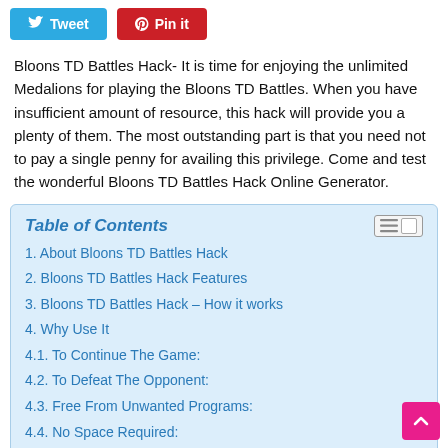[Figure (other): Two social sharing buttons: a blue 'Tweet' button with Twitter bird icon and a red 'Pin it' button with Pinterest pin icon]
Bloons TD Battles Hack- It is time for enjoying the unlimited Medalions for playing the Bloons TD Battles. When you have insufficient amount of resource, this hack will provide you a plenty of them. The most outstanding part is that you need not to pay a single penny for availing this privilege. Come and test the wonderful Bloons TD Battles Hack Online Generator.
| 1. About Bloons TD Battles Hack |
| 2. Bloons TD Battles Hack Features |
| 3. Bloons TD Battles Hack – How it works |
| 4. Why Use It |
| 4.1. To Continue The Game: |
| 4.2. To Defeat The Opponent: |
| 4.3. Free From Unwanted Programs: |
| 4.4. No Space Required: |
| 4.5. Compatibility: |